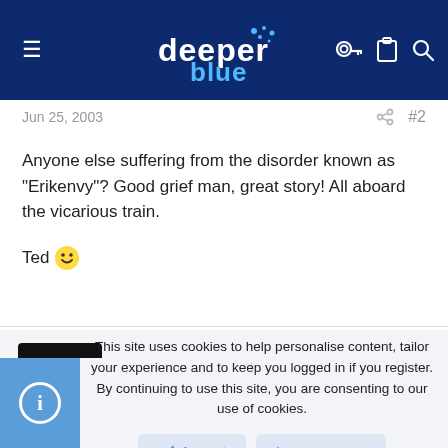deeper blue — navigation header
Jun 25, 2003   #2
Anyone else suffering from the disorder known as "Erikenvy"? Good grief man, great story! All aboard the vicarious train.

Ted 🙂
Gerald
Well-Known Member
This site uses cookies to help personalise content, tailor your experience and to keep you logged in if you register.
By continuing to use this site, you are consenting to our use of cookies.